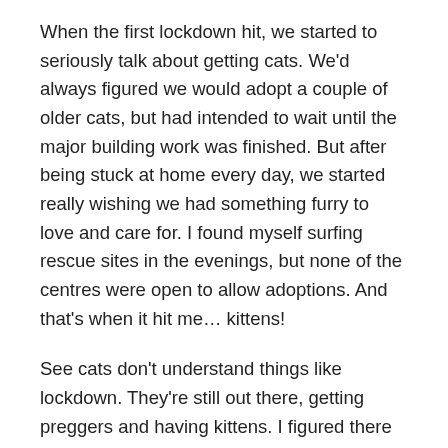When the first lockdown hit, we started to seriously talk about getting cats. We'd always figured we would adopt a couple of older cats, but had intended to wait until the major building work was finished. But after being stuck at home every day, we started really wishing we had something furry to love and care for. I found myself surfing rescue sites in the evenings, but none of the centres were open to allow adoptions. And that's when it hit me… kittens!
See cats don't understand things like lockdown. They're still out there, getting preggers and having kittens. I figured there might be some in our area needing a new home. I've always wanted to have kittens, but since we both work 9-5, we wouldn't be around enough too look after them. But hey, now we're stuck at home all day every day!! Suddenly this lockdown has an upside – we